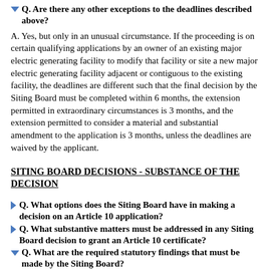Q. Are there any other exceptions to the deadlines described above?
A. Yes, but only in an unusual circumstance. If the proceeding is on certain qualifying applications by an owner of an existing major electric generating facility to modify that facility or site a new major electric generating facility adjacent or contiguous to the existing facility, the deadlines are different such that the final decision by the Siting Board must be completed within 6 months, the extension permitted in extraordinary circumstances is 3 months, and the extension permitted to consider a material and substantial amendment to the application is 3 months, unless the deadlines are waived by the applicant.
SITING BOARD DECISIONS - SUBSTANCE OF THE DECISION
Q. What options does the Siting Board have in making a decision on an Article 10 application?
Q. What substantive matters must be addressed in any Siting Board decision to grant an Article 10 certificate?
Q. What are the required statutory findings that must be made by the Siting Board?